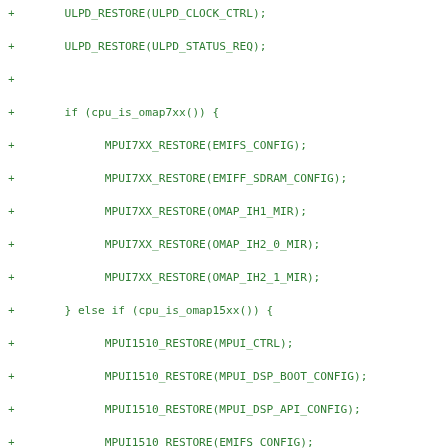+ ULPD_RESTORE(ULPD_CLOCK_CTRL);
+ ULPD_RESTORE(ULPD_STATUS_REQ);
+
+ if (cpu_is_omap7xx()) {
+ MPUI7XX_RESTORE(EMIFS_CONFIG);
+ MPUI7XX_RESTORE(EMIFF_SDRAM_CONFIG);
+ MPUI7XX_RESTORE(OMAP_IH1_MIR);
+ MPUI7XX_RESTORE(OMAP_IH2_0_MIR);
+ MPUI7XX_RESTORE(OMAP_IH2_1_MIR);
+ } else if (cpu_is_omap15xx()) {
+ MPUI1510_RESTORE(MPUI_CTRL);
+ MPUI1510_RESTORE(MPUI_DSP_BOOT_CONFIG);
+ MPUI1510_RESTORE(MPUI_DSP_API_CONFIG);
+ MPUI1510_RESTORE(EMIFS_CONFIG);
+ MPUI1510_RESTORE(EMIFF_SDRAM_CONFIG);
+ MPUI1510_RESTORE(OMAP_IH1_MIR);
+ MPUI1510_RESTORE(OMAP_IH2_MIR);
+ } else if (cpu_is_omap16xx()) {
+ MPUI1610_RESTORE(MPUI_CTRL);
+ MPUI1610_RESTORE(MPUI_DSP_BOOT_CONFIG);
+ MPUI1610_RESTORE(MPUI_DSP_API_CONFIG);
+ MPUI1610_RESTORE(EMIFS_CONFIG);
+ MPUI1610_RESTORE(EMIFF_SDRAM_CONFIG);
+
+ MPUI1610_RESTORE(OMAP_IH1_MIR);